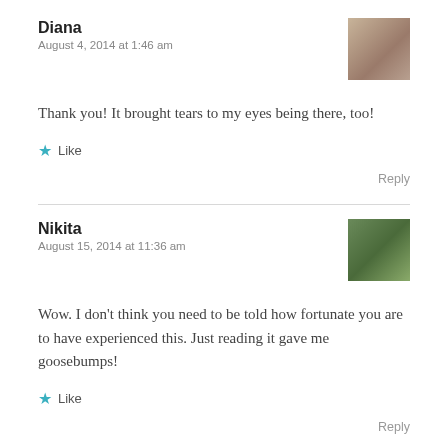Diana
August 4, 2014 at 1:46 am
Thank you! It brought tears to my eyes being there, too!
★ Like
Reply
Nikita
August 15, 2014 at 11:36 am
Wow. I don't think you need to be told how fortunate you are to have experienced this. Just reading it gave me goosebumps!
★ Like
Reply